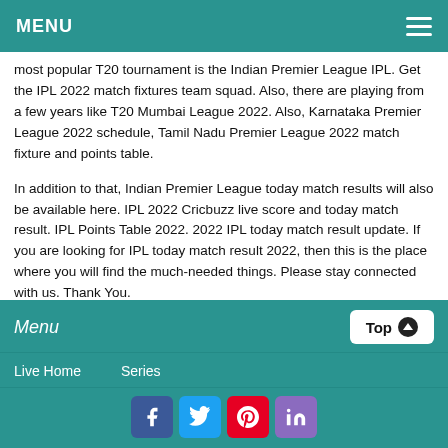MENU
most popular T20 tournament is the Indian Premier League IPL. Get the IPL 2022 match fixtures team squad. Also, there are playing from a few years like T20 Mumbai League 2022. Also, Karnataka Premier League 2022 schedule, Tamil Nadu Premier League 2022 match fixture and points table.
In addition to that, Indian Premier League today match results will also be available here. IPL 2022 Cricbuzz live score and today match result. IPL Points Table 2022. 2022 IPL today match result update. If you are looking for IPL today match result 2022, then this is the place where you will find the much-needed things. Please stay connected with us. Thank You.
Menu | Top | Live Home | Series | Facebook | Twitter | Pinterest | LinkedIn